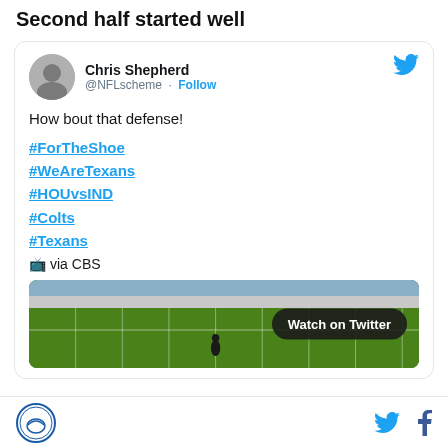Second half started well
[Figure (screenshot): Embedded tweet from Chris Shepherd (@NFLscheme) with text 'How bout that defense! #ForTheShoe #WeAreTexans #HOUvsIND #Colts #Texans 📺 via CBS' and a video thumbnail of a football field with a 'Watch on Twitter' button]
Footer with organization logo and social media icons for Twitter and Facebook